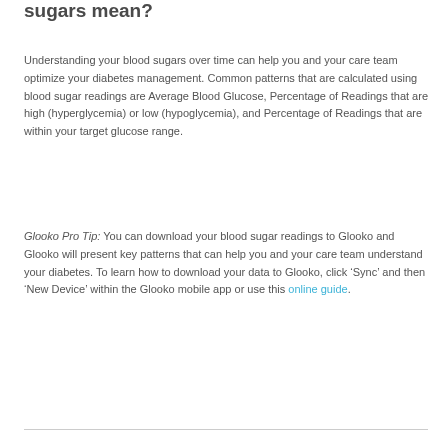sugars mean?
Understanding your blood sugars over time can help you and your care team optimize your diabetes management. Common patterns that are calculated using blood sugar readings are Average Blood Glucose, Percentage of Readings that are high (hyperglycemia) or low (hypoglycemia), and Percentage of Readings that are within your target glucose range.
Glooko Pro Tip: You can download your blood sugar readings to Glooko and Glooko will present key patterns that can help you and your care team understand your diabetes. To learn how to download your data to Glooko, click ‘Sync’ and then ‘New Device’ within the Glooko mobile app or use this online guide.